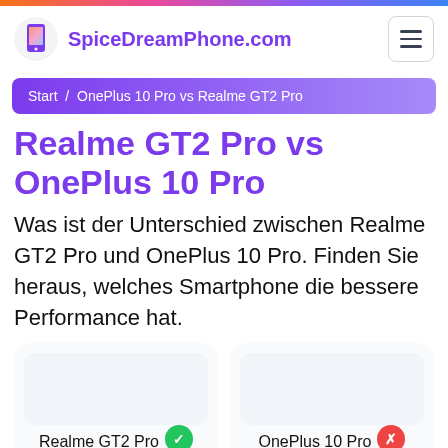SpiceDreamPhone.com
Start / OnePlus 10 Pro vs Realme GT2 Pro
Realme GT2 Pro vs OnePlus 10 Pro
Was ist der Unterschied zwischen Realme GT2 Pro und OnePlus 10 Pro. Finden Sie heraus, welches Smartphone die bessere Performance hat.
[Figure (other): Two phone comparison cards: Realme GT2 Pro (green checkmark badge) and OnePlus 10 Pro (red X badge)]